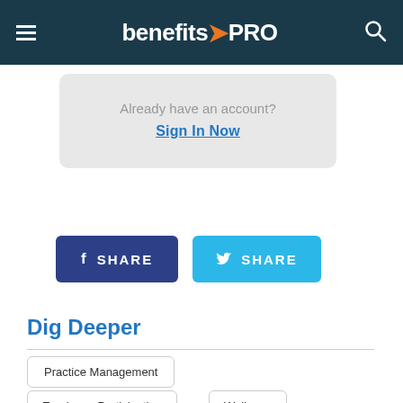benefitsPRO
Already have an account?
Sign In Now
[Figure (screenshot): Facebook Share button and Twitter Share button]
Dig Deeper
Practice Management
Employee Participation
Wellness
Trending Stories